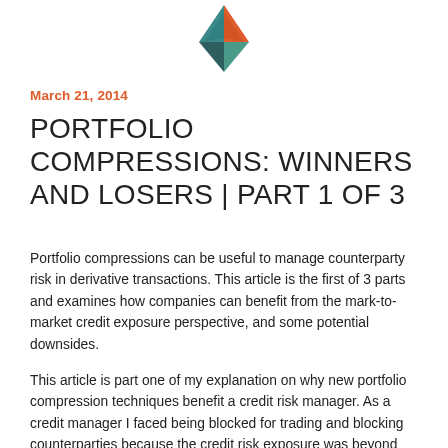[Figure (logo): Geometric diamond/triangle logo in teal, orange, and dark colors at top center]
March 21, 2014
PORTFOLIO COMPRESSIONS: WINNERS AND LOSERS | PART 1 OF 3
Portfolio compressions can be useful to manage counterparty risk in derivative transactions. This article is the first of 3 parts and examines how companies can benefit from the mark-to-market credit exposure perspective, and some potential downsides.
This article is part one of my explanation on why new portfolio compression techniques benefit a credit risk manager. As a credit manager I faced being blocked for trading and blocking counterparties because the credit risk exposure was beyond